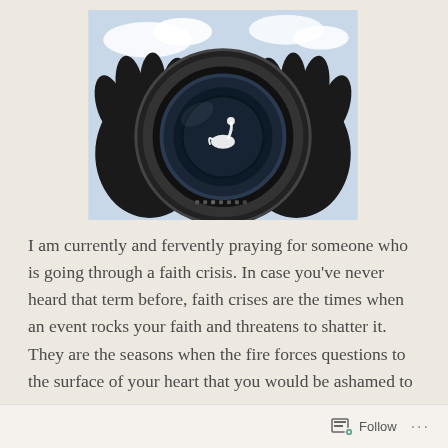[Figure (photo): A pair of black-gloved hands holding up a camera lens toward the sky. Visible through the lens is a white swan. The sky in the background is light blue with clouds.]
I am currently and fervently praying for someone who is going through a faith crisis. In case you've never heard that term before, faith crises are the times when an event rocks your faith and threatens to shatter it. They are the seasons when the fire forces questions to the surface of your heart that you would be ashamed to let pass through your lips. They are the moments when life hits you in the gut, and everything you thought you believed…
Follow ···